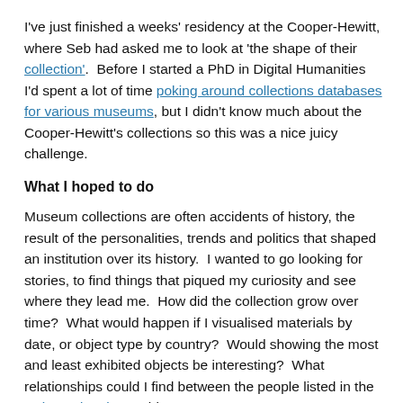I've just finished a weeks' residency at the Cooper-Hewitt, where Seb had asked me to look at 'the shape of their collection'.  Before I started a PhD in Digital Humanities I'd spent a lot of time poking around collections databases for various museums, but I didn't know much about the Cooper-Hewitt's collections so this was a nice juicy challenge.
What I hoped to do
Museum collections are often accidents of history, the result of the personalities, trends and politics that shaped an institution over its history.  I wanted to go looking for stories, to find things that piqued my curiosity and see where they lead me.  How did the collection grow over time?  What would happen if I visualised materials by date, or object type by country?  Would showing the most and least exhibited objects be interesting?  What relationships could I find between the people listed in the Artist and Makers tables, or